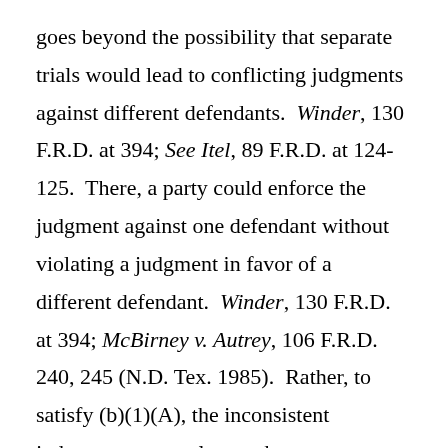goes beyond the possibility that separate trials would lead to conflicting judgments against different defendants. Winder, 130 F.R.D. at 394; See Itel, 89 F.R.D. at 124-125. There, a party could enforce the judgment against one defendant without violating a judgment in favor of a different defendant. Winder, 130 F.R.D. at 394; McBirney v. Autrey, 106 F.R.D. 240, 245 (N.D. Tex. 1985). Rather, to satisfy (b)(1)(A), the inconsistent judgments must relate to the same defendant on the same issue. Winder, 130 F.R.D. at 394; See Itel, 89